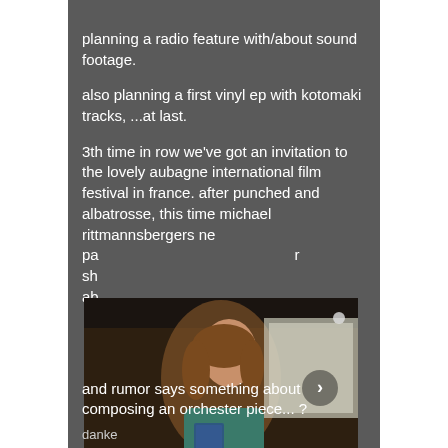planning a radio feature with/about sound footage.
also planning a first vinyl ep with kotomaki tracks, ...at last.
3th time in row we've got an invitation to the lovely aubagne international film festival in france. after punched and albatrosse, this time michael rittmannsbergers ne... pa... r sh... ab...
[Figure (photo): A young woman in a teal top holding an object, with text overlay 'MUSIK Iva Zabkar' and a navigation arrow on the right side. Dark film still.]
and rumor says something about composing an orchester piece... ?
danke